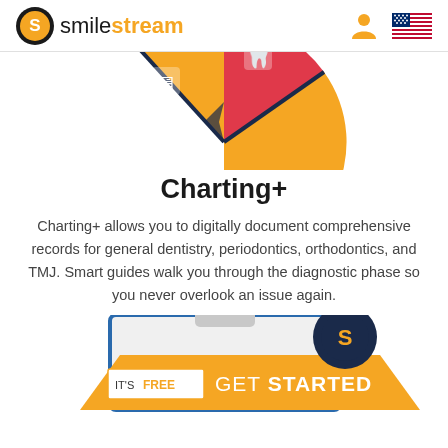smilestream
[Figure (infographic): Partial pie/donut chart showing dental specialties - orange segment with dental equipment icon, red/pink segment with tooth crown icon, dark navy divider lines between segments. Only top portion of circular chart visible.]
Charting+
Charting+ allows you to digitally document comprehensive records for general dentistry, periodontics, orthodontics, and TMJ. Smart guides walk you through the diagnostic phase so you never overlook an issue again.
[Figure (infographic): Clipboard illustration with SmileStream logo badge (dark circle with orange S), orange banner ribbon, and CTA button reading IT'S FREE | GET STARTED]